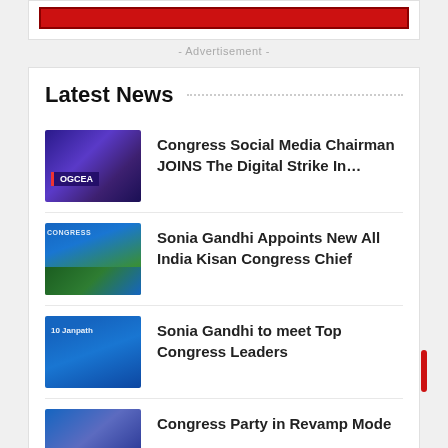[Figure (other): Red advertisement banner]
- Advertisement -
Latest News
Congress Social Media Chairman JOINS The Digital Strike In…
Sonia Gandhi Appoints New All India Kisan Congress Chief
Sonia Gandhi to meet Top Congress Leaders
Congress Party in Revamp Mode